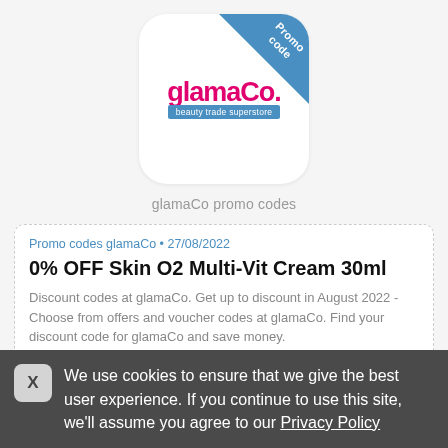[Figure (logo): glamaCo beauty trade superstore logo in a white rounded card with blue diagonal 'Promo code' ribbon in the top-right corner]
glamaCo promo codes
Promo codes glamaCo • 27/08/2022
0% OFF Skin O2 Multi-Vit Cream 30ml
Discount codes at glamaCo. Get up to discount in August 2022 - Choose from offers and voucher codes at glamaCo. Find your discount code for glamaCo and save money.
We use cookies to ensure that we give the best user experience. If you continue to use this site, we'll assume you agree to our Privacy Policy